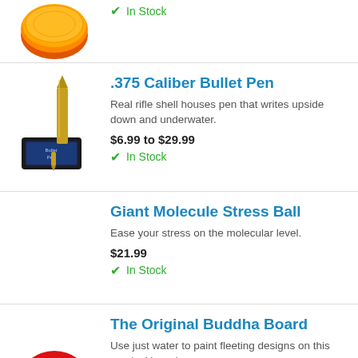[Figure (photo): Partial product image at top - appears to be a red/orange circular object (hockey puck or similar)]
In Stock
.375 Caliber Bullet Pen
Real rifle shell houses pen that writes upside down and underwater.
$6.99 to $29.99
In Stock
[Figure (photo): Bullet pen product image showing a large brass bullet/shell casing and a black case]
Giant Molecule Stress Ball
Ease your stress on the molecular level.
$21.99
In Stock
The Original Buddha Board
Use just water to paint fleeting designs on this magical board.
$15.99 to $36.99
[Figure (photo): Partial image of USA flag themed product at bottom left]